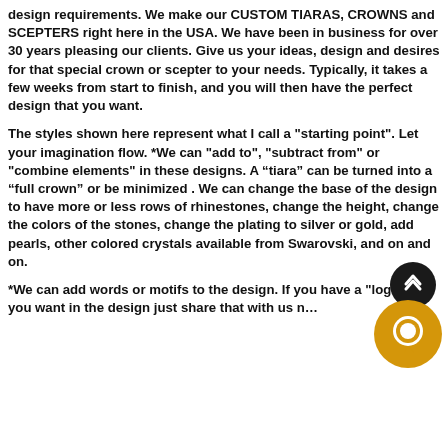design requirements. We make our CUSTOM TIARAS, CROWNS and SCEPTERS right here in the USA. We have been in business for over 30 years pleasing our clients. Give us your ideas, design and desires for that special crown or scepter to your needs. Typically, it takes a few weeks from start to finish, and you will then have the perfect design that you want.

The styles shown here represent what I call a "starting point". Let your imagination flow. *We can "add to", "subtract from" or "combine elements" in these designs. A “tiara” can be turned into a “full crown” or be minimized . We can change the base of the design to have more or less rows of rhinestones, change the height, change the colors of the stones, change the plating to silver or gold, add pearls, other colored crystals available from Swarovski, and on and on.

*We can add words or motifs to the design. If you have a "logo" that you want in the design just share that with us n...